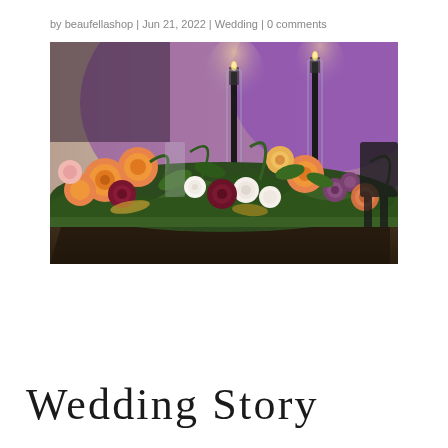by beaufellashop | Jun 21, 2022 | Wedding | 0 comments
[Figure (photo): Wedding table centerpiece with colorful flowers including orange dahlias, white roses, burgundy flowers, and greenery, with tall black candles in glass holders, purple ambient lighting in background]
Wedding Story